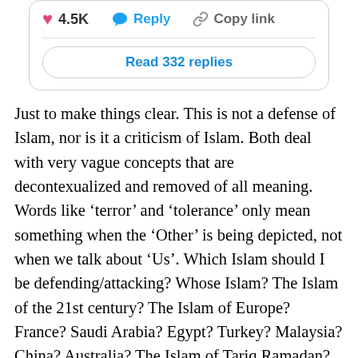[Figure (screenshot): Social media post interaction bar showing: pink heart icon with '4.5K', blue speech bubble icon with 'Reply', chain link icon with 'Copy link', and a 'Read 332 replies' button below]
Just to make things clear. This is not a defense of Islam, nor is it a criticism of Islam. Both deal with very vague concepts that are decontexualized and removed of all meaning. Words like 'terror' and 'tolerance' only mean something when the 'Other' is being depicted, not when we talk about 'Us'. Which Islam should I be defending/attacking? Whose Islam? The Islam of the 21st century? The Islam of Europe? France? Saudi Arabia? Egypt? Turkey? Malaysia? China? Australia? The Islam of Tariq Ramadan? Mehdi Hassan? Abdul-Aziz ibn Abdullah Al Ash-Sheikh? Rahmi Yaran? Can we put them in a category? Can we put 1.6 billion people in one category? I have absolutely no idea how to do that, and I have yet to